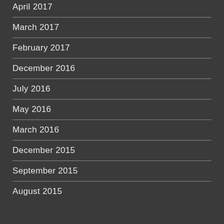April 2017
March 2017
February 2017
December 2016
July 2016
May 2016
March 2016
December 2015
September 2015
August 2015